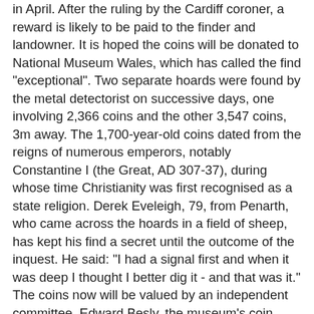in April. After the ruling by the Cardiff coroner, a reward is likely to be paid to the finder and landowner. It is hoped the coins will be donated to National Museum Wales, which has called the find "exceptional". Two separate hoards were found by the metal detectorist on successive days, one involving 2,366 coins and the other 3,547 coins, 3m away. The 1,700-year-old coins dated from the reigns of numerous emperors, notably Constantine I (the Great, AD 307-37), during whose time Christianity was first recognised as a state religion. Derek Eveleigh, 79, from Penarth, who came across the hoards in a field of sheep, has kept his find a secret until the outcome of the inquest. He said: "I had a signal first and when it was deep I thought I better dig it - and that was it." The coins now will be valued by an independent committee. Edward Besly, the museum's coin specialist called it an "exceptional find". He said: "The coins provide further evidence for local wealth at the time. They also reflect the complex imperial politics of the early fourth century." 'Time of danger' It is thought the two hoards were buried by the same person, possibly two years apart. A similar find was uncovered in the area in 1899. "There was quite a bit of Roman activity in the area at the time, southwards from Cardiff. On the shore there was a Roman fort, at the Knap...